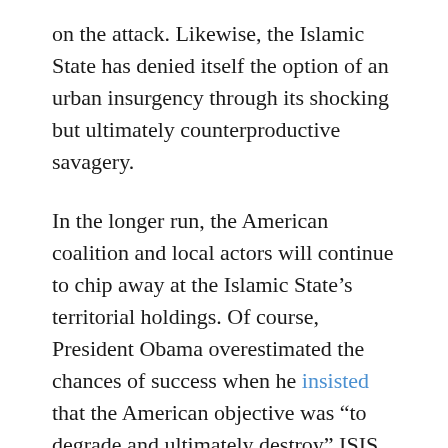on the attack. Likewise, the Islamic State has denied itself the option of an urban insurgency through its shocking but ultimately counterproductive savagery.
In the longer run, the American coalition and local actors will continue to chip away at the Islamic State's territorial holdings. Of course, President Obama overestimated the chances of success when he insisted that the American objective was “to degrade and ultimately destroy” ISIS. It will be a long time before that categorical goal can be realized; terrorist organizations like ISIS are rarely destroyed outright. But over time, the United States will